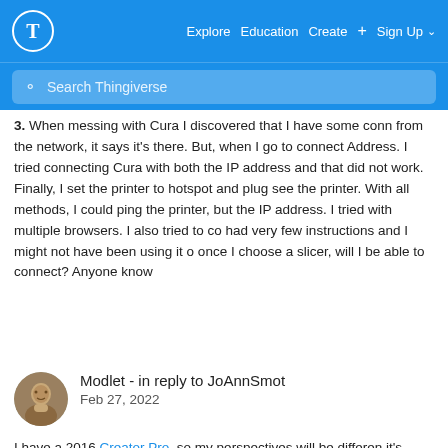Thingiverse — Explore  Education  Create  + Sign Up
Search Thingiverse
3. When messing with Cura I discovered that I have some conn from the network, it says it's there. But, when I go to connect Address. I tried connecting Cura with both the IP address and that did not work. Finally, I set the printer to hotspot and plug see the printer. With all methods, I could ping the printer, but the IP address. I tried with multiple browsers. I also tried to co had very few instructions and I might not have been using it o once I choose a slicer, will I be able to connect? Anyone know
Modlet - in reply to JoAnnSmot
Feb 27, 2022
I have a 2016 Creator Pro, so my perspectives will be different it's really much better than previous versions and I've been...